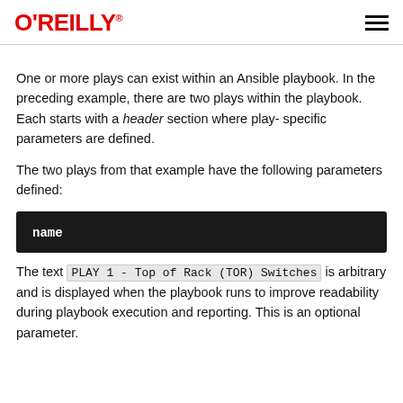O'REILLY
One or more plays can exist within an Ansible playbook. In the preceding example, there are two plays within the playbook. Each starts with a header section where play-specific parameters are defined.
The two plays from that example have the following parameters defined:
[Figure (screenshot): Dark terminal/code block showing the word 'name' in white bold monospace text on a black background]
The text PLAY 1 - Top of Rack (TOR) Switches is arbitrary and is displayed when the playbook runs to improve readability during playbook execution and reporting. This is an optional parameter.